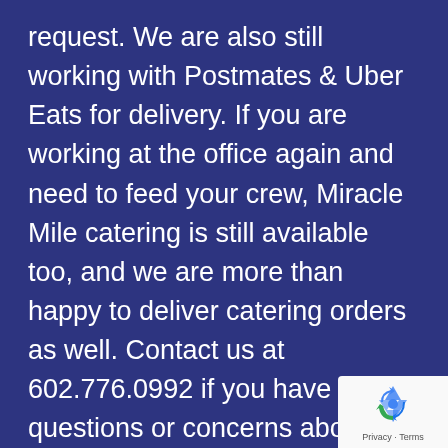request.  We are also still working with Postmates & Uber Eats for delivery.  If you are working at the office again and need to feed your crew, Miracle Mile catering is still available too, and we are more than happy to deliver catering orders as well.  Contact us at 602.776.0992 if you have any questions or concerns about any of these topics.
We have made a few changes to our health & safety practices (both for customers & staff) to ensure
[Figure (logo): Google reCAPTCHA badge with recycle-arrow logo and Privacy · Terms text]